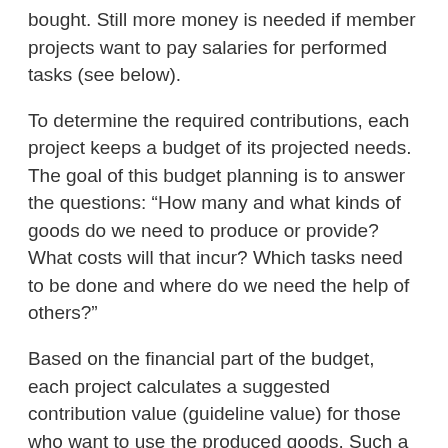bought. Still more money is needed if member projects want to pay salaries for performed tasks (see below).
To determine the required contributions, each project keeps a budget of its projected needs. The goal of this budget planning is to answer the questions: “How many and what kinds of goods do we need to produce or provide? What costs will that incur? Which tasks need to be done and where do we need the help of others?”
Based on the financial part of the budget, each project calculates a suggested contribution value (guideline value) for those who want to use the produced goods. Such a guideline value is not obligatory, but only a hint, a suggestion on what amount of payment would be appropriate. Instead of being absolute, it may be calculated relative to a person’s income. This means that somebody who